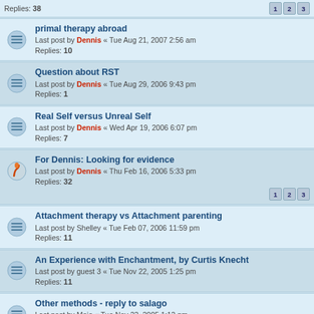Replies: 38 [pages 1 2 3]
primal therapy abroad
Last post by Dennis « Tue Aug 21, 2007 2:56 am
Replies: 10
Question about RST
Last post by Dennis « Tue Aug 29, 2006 9:43 pm
Replies: 1
Real Self versus Unreal Self
Last post by Dennis « Wed Apr 19, 2006 6:07 pm
Replies: 7
For Dennis: Looking for evidence
Last post by Dennis « Thu Feb 16, 2006 5:33 pm
Replies: 32 [pages 1 2 3]
Attachment therapy vs Attachment parenting
Last post by Shelley « Tue Feb 07, 2006 11:59 pm
Replies: 11
An Experience with Enchantment, by Curtis Knecht
Last post by guest 3 « Tue Nov 22, 2005 1:25 pm
Replies: 11
Other methods - reply to salago
Last post by Mojo « Tue Nov 22, 2005 1:12 pm
Replies: 5
primal-box
Last post by Branch Janovian « Tue Nov 22, 2005 1:05 pm
Replies: 11
And so life goes on
Last post by Dennis « Tue Nov 22, 2005 12:41 pm